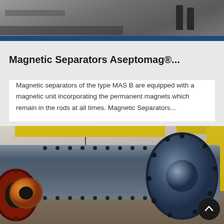[Figure (photo): Top portion of industrial site photo showing people/workers and structural elements in a warehouse or factory setting, partially cropped]
Magnetic Separators Aseptomag®...
Magnetic separators of the type MAS B are equipped with a magnetic unit incorporating the permanent magnets which remain in the rods at all times. Magnetic Separators...
[Figure (photo): Large industrial ball mill in a factory setting, showing the cylindrical grey mill body with bolted flanges, a red gear wheel on the left side, yellow overhead crane, and a smaller orange ball mill in the background left]